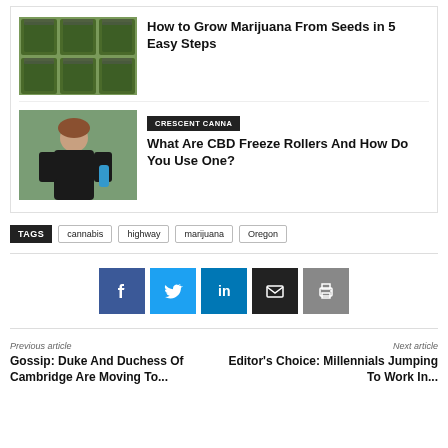[Figure (photo): Jars filled with marijuana/cannabis buds arranged in a grid]
How to Grow Marijuana From Seeds in 5 Easy Steps
[Figure (photo): Woman holding a CBD product outdoors]
CRESCENT CANNA
What Are CBD Freeze Rollers And How Do You Use One?
TAGS  cannabis  highway  marijuana  Oregon
[Figure (infographic): Social share buttons: Facebook, Twitter, LinkedIn, Email, Print]
Previous article
Gossip: Duke And Duchess Of Cambridge Are Moving To...
Next article
Editor's Choice: Millennials Jumping To Work In...